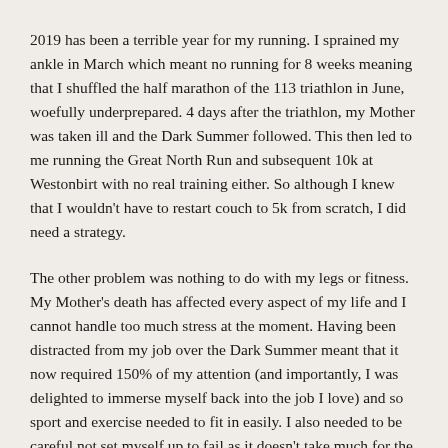2019 has been a terrible year for my running. I sprained my ankle in March which meant no running for 8 weeks meaning that I shuffled the half marathon of the 113 triathlon in June, woefully underprepared. 4 days after the triathlon, my Mother was taken ill and the Dark Summer followed. This then led to me running the Great North Run and subsequent 10k at Westonbirt with no real training either. So although I knew that I wouldn't have to restart couch to 5k from scratch, I did need a strategy.
The other problem was nothing to do with my legs or fitness. My Mother's death has affected every aspect of my life and I cannot handle too much stress at the moment. Having been distracted from my job over the Dark Summer meant that it now required 150% of my attention (and importantly, I was delighted to immerse myself back into the job I love) and so sport and exercise needed to fit in easily. I also needed to be careful not set myself up to fail as it doesn't take much for the tears to start at the moment. As running is always something that I find difficult, I needed to keep it as easy and achievable as possible.